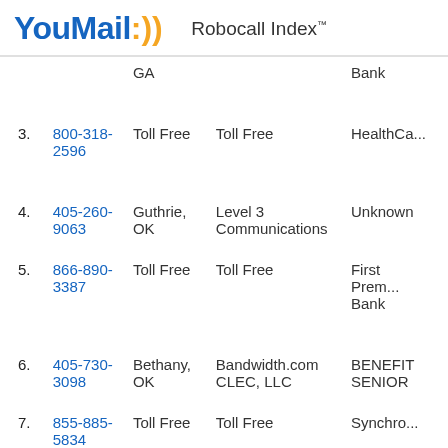YouMail Robocall Index™
| # | Phone | Location | Carrier | Company |
| --- | --- | --- | --- | --- |
|  |  | GA |  | Bank |
| 3. | 800-318-2596 | Toll Free | Toll Free | HealthCa... |
| 4. | 405-260-9063 | Guthrie, OK | Level 3 Communications | Unknown |
| 5. | 866-890-3387 | Toll Free | Toll Free | First Prem... Bank |
| 6. | 405-730-3098 | Bethany, OK | Bandwidth.com CLEC, LLC | BENEFIT SENIOR |
| 7. | 855-885-5834 | Toll Free | Toll Free | Synchro... |